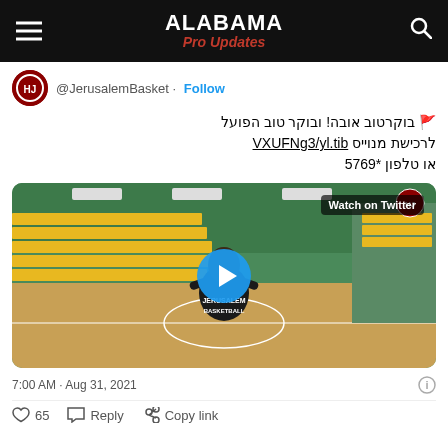ALABAMA Pro Updates
@JerusalemBasket · Follow
🚩 בוקרטוב אובה! ובוקר טוב הפועל לרכישת מנוייס bit.ly/3gNFUXV או טלפון *9675
[Figure (screenshot): Twitter video thumbnail showing a basketball player in Jerusalem Basketball jersey standing in a gym with yellow bleacher seats. Blue play button circle overlay and 'Watch on Twitter' label.]
7:00 AM · Aug 31, 2021
65  Reply  Copy link